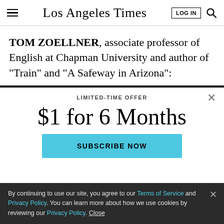Los Angeles Times
TOM ZOELLNER, associate professor of English at Chapman University and author of “Train” and “A Safeway in Arizona”:
LIMITED-TIME OFFER
$1 for 6 Months
SUBSCRIBE NOW
By continuing to use our site, you agree to our Terms of Service and Privacy Policy. You can learn more about how we use cookies by reviewing our Privacy Policy. Close